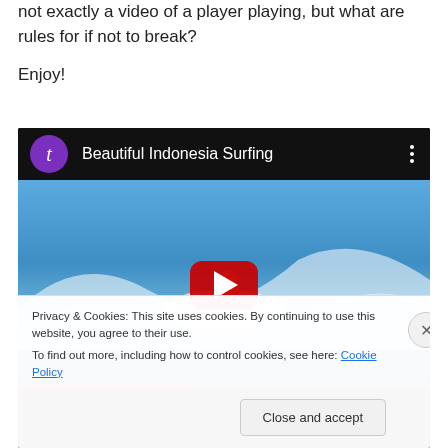not exactly a video of a player playing, but what are rules for if not to break?
Enjoy!
[Figure (screenshot): YouTube video thumbnail for 'Beautiful Indonesia Surfing' showing a surfer on a wave with blue sky background. A red play button is centered. A cookie consent bar overlays the bottom with text about cookies and a 'Close and accept' button.]